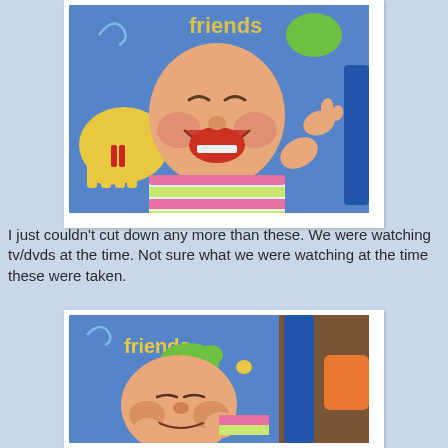[Figure (photo): A smiling baby lying in a blue bouncy seat with colorful animal print fabric (showing partial word 'friends'), wearing a pink and green striped outfit, laughing with mouth wide open and one arm raised.]
I just couldn't cut down any more than these. We were watching tv/dvds at the time. Not sure what we were watching at the time these were taken.
[Figure (photo): A baby with eyes closed or looking down, lying in the same blue bouncy seat with 'friends' text visible on the fabric, wearing the same pink and green striped outfit, with a relaxed or sleepy expression.]